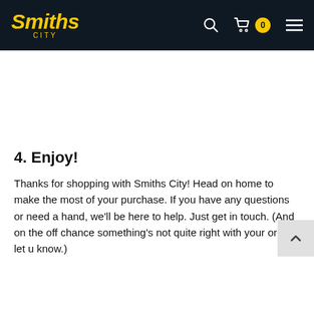Smiths City — navigation header with search, cart (0), and menu icons
4. Enjoy!
Thanks for shopping with Smiths City! Head on home to make the most of your purchase. If you have any questions or need a hand, we'll be here to help. Just get in touch. (And on the off chance something's not quite right with your order, let us know.)